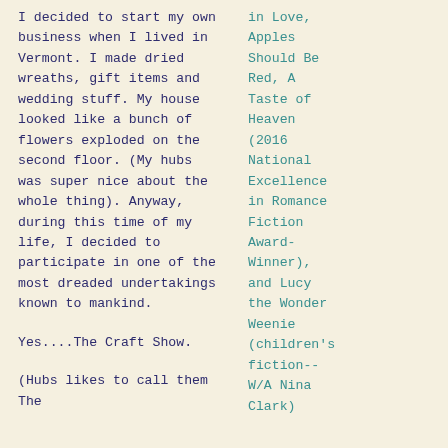I decided to start my own business when I lived in Vermont. I made dried wreaths, gift items and wedding stuff. My house looked like a bunch of flowers exploded on the second floor. (My hubs was super nice about the whole thing). Anyway, during this time of my life, I decided to participate in one of the most dreaded undertakings known to mankind.
Yes....The Craft Show.
(Hubs likes to call them The
in Love, Apples Should Be Red, A Taste of Heaven (2016 National Excellence in Romance Fiction Award-Winner), and Lucy the Wonder Weenie (children's fiction-- W/A Nina Clark)